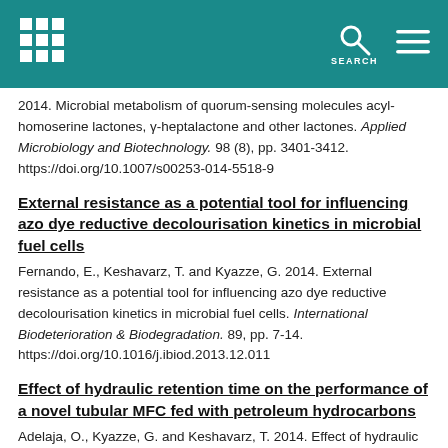SEARCH
2014. Microbial metabolism of quorum-sensing molecules acyl-homoserine lactones, γ-heptalactone and other lactones. Applied Microbiology and Biotechnology. 98 (8), pp. 3401-3412. https://doi.org/10.1007/s00253-014-5518-9
External resistance as a potential tool for influencing azo dye reductive decolourisation kinetics in microbial fuel cells
Fernando, E., Keshavarz, T. and Kyazze, G. 2014. External resistance as a potential tool for influencing azo dye reductive decolourisation kinetics in microbial fuel cells. International Biodeterioration & Biodegradation. 89, pp. 7-14. https://doi.org/10.1016/j.ibiod.2013.12.011
Effect of hydraulic retention time on the performance of a novel tubular MFC fed with petroleum hydrocarbons
Adelaja, O., Kyazze, G. and Keshavarz, T. 2014. Effect of hydraulic